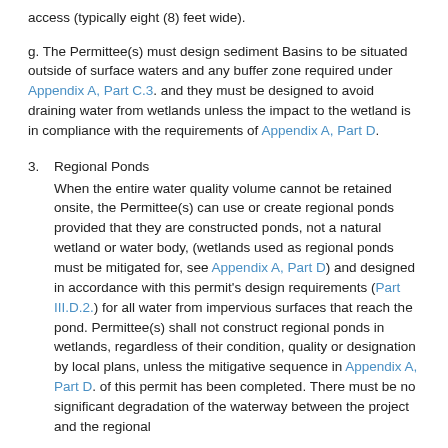access (typically eight (8) feet wide).
g. The Permittee(s) must design sediment Basins to be situated outside of surface waters and any buffer zone required under Appendix A, Part C.3. and they must be designed to avoid draining water from wetlands unless the impact to the wetland is in compliance with the requirements of Appendix A, Part D.
3. Regional Ponds
When the entire water quality volume cannot be retained onsite, the Permittee(s) can use or create regional ponds provided that they are constructed ponds, not a natural wetland or water body, (wetlands used as regional ponds must be mitigated for, see Appendix A, Part D) and designed in accordance with this permit's design requirements (Part III.D.2.) for all water from impervious surfaces that reach the pond. Permittee(s) shall not construct regional ponds in wetlands, regardless of their condition, quality or designation by local plans, unless the mitigative sequence in Appendix A, Part D. of this permit has been completed. There must be no significant degradation of the waterway between the project and the regional